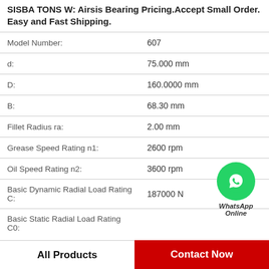SISBA TONS W: Airsis Bearing Pricing.Accept Small Order. Easy and Fast Shipping.
| Property | Value |
| --- | --- |
| Model Number: | 607 |
| d: | 75.000 mm |
| D: | 160.0000 mm |
| B: | 68.30 mm |
| Fillet Radius ra: | 2.00 mm |
| Grease Speed Rating n1: | 2600 rpm |
| Oil Speed Rating n2: | 3600 rpm |
| Basic Dynamic Radial Load Rating C: | 187000 N |
| Basic Static Radial Load Rating C0: |  |
[Figure (logo): WhatsApp Online green circle icon with phone handset, with text WhatsApp Online below]
All Products
Contact Now